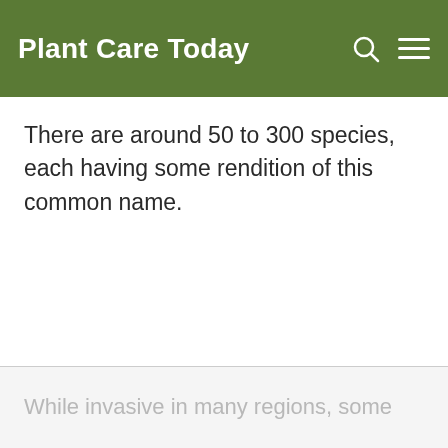Plant Care Today
There are around 50 to 300 species, each having some rendition of this common name.
While invasive in many regions, some